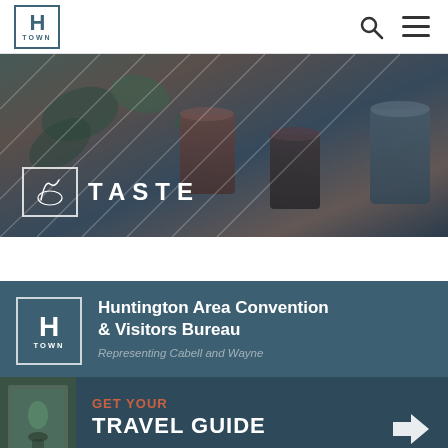H TOWN — Navigation header with logo, search icon, and menu icon
[Figure (photo): Hero banner image showing coffee/beverage cups and plants with a dark blue overlay, titled TASTE]
TASTE
Huntington Area Convention & Visitors Bureau
Representing Cabell and Wayne
GET YOUR
TRAVEL GUIDE
Close